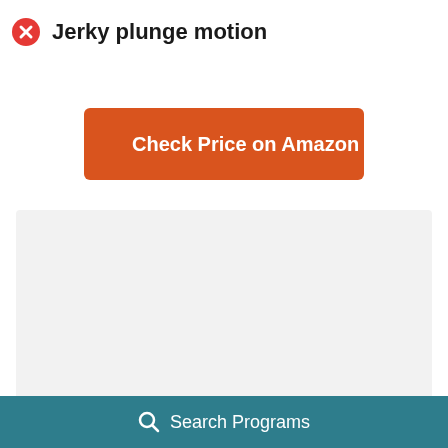Jerky plunge motion
[Figure (other): Orange Amazon button with Amazon logo icon and text 'Check Price on Amazon']
[Figure (other): Light gray image/slideshow placeholder with three pagination dots at the bottom]
Search Programs